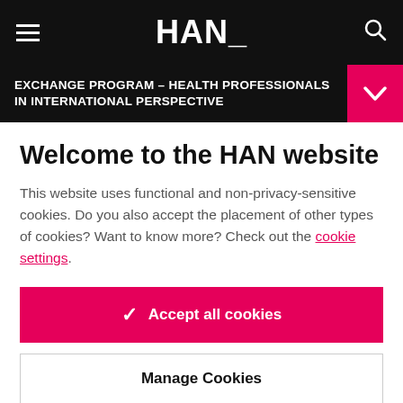HAN_
EXCHANGE PROGRAM – HEALTH PROFESSIONALS IN INTERNATIONAL PERSPECTIVE
Welcome to the HAN website
This website uses functional and non-privacy-sensitive cookies. Do you also accept the placement of other types of cookies? Want to know more? Check out the cookie settings.
Accept all cookies
Manage Cookies